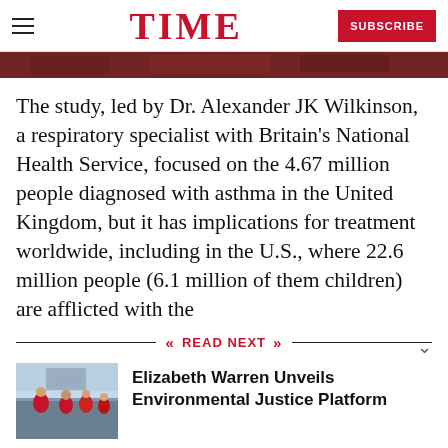TIME — SUBSCRIBE
[Figure (photo): Partial photo strip at top of article, dark reddish-brown tones]
The study, led by Dr. Alexander JK Wilkinson, a respiratory specialist with Britain's National Health Service, focused on the 4.67 million people diagnosed with asthma in the United Kingdom, but it has implications for treatment worldwide, including in the U.S., where 22.6 million people (6.1 million of them children) are afflicted with the
READ NEXT
[Figure (photo): Thumbnail photo of people in red shirts outdoors, related to Elizabeth Warren environmental justice story]
Elizabeth Warren Unveils Environmental Justice Platform